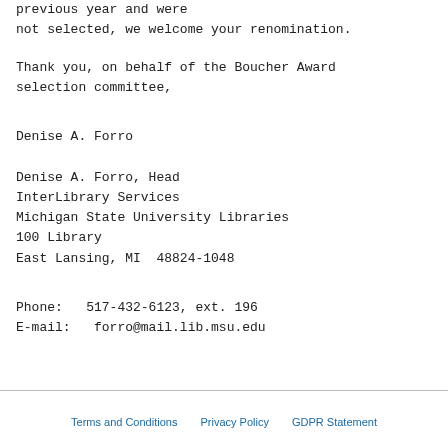previous year and were
not selected, we welcome your renomination.
Thank you, on behalf of the Boucher Award
selection committee,
Denise A. Forro
Denise A. Forro, Head
InterLibrary Services
Michigan State University Libraries
100 Library
East Lansing, MI  48824-1048
Phone:   517-432-6123, ext. 196
E-mail:   forro@mail.lib.msu.edu
Terms and Conditions   Privacy Policy   GDPR Statement